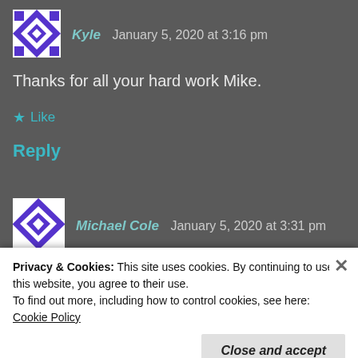[Figure (illustration): Avatar icon for Kyle - purple and white geometric quilt pattern]
Kyle  January 5, 2020 at 3:16 pm
Thanks for all your hard work Mike.
★ Like
Reply
[Figure (illustration): Avatar icon for Michael Cole - purple and white diamond quilt pattern]
Michael Cole  January 5, 2020 at 3:31 pm
Thank you so much Mike. Your thoughtful
Privacy & Cookies: This site uses cookies. By continuing to use this website, you agree to their use.
To find out more, including how to control cookies, see here: Cookie Policy
Close and accept